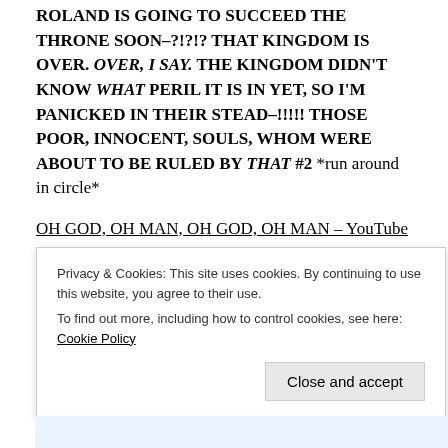ROLAND IS GOING TO SUCCEED THE THRONE SOON–?!?!? THAT KINGDOM IS OVER. OVER, I SAY. THE KINGDOM DIDN'T KNOW WHAT PERIL IT IS IN YET, SO I'M PANICKED IN THEIR STEAD–!!!!! THOSE POOR, INNOCENT, SOULS, WHOM WERE ABOUT TO BE RULED BY THAT #2 *run around in circle*
OH GOD, OH MAN, OH GOD, OH MAN – YouTube
Please also consider donating to my ko-fi! It'll greatly support me in action, no matter the amount!
Privacy & Cookies: This site uses cookies. By continuing to use this website, you agree to their use. To find out more, including how to control cookies, see here: Cookie Policy
Close and accept